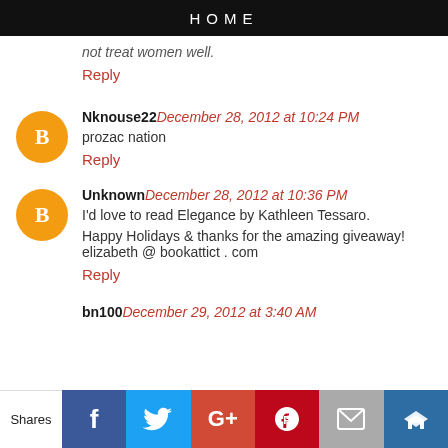HOME
not treat women well.
Reply
Nknouse22 December 28, 2012 at 10:24 PM
prozac nation
Reply
Unknown December 28, 2012 at 10:36 PM
I'd love to read Elegance by Kathleen Tessaro.
Happy Holidays & thanks for the amazing giveaway! elizabeth @ bookattict . com
Reply
bn100 December 29, 2012 at 3:40 AM
Shares